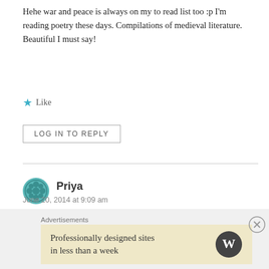Hehe war and peace is always on my to read list too :p I'm reading poetry these days. Compilations of medieval literature. Beautiful I must say!
Like
LOG IN TO REPLY
Priya
June 20, 2014 at 9:09 am
LBC – I started War and Peace, and already forty pages in it feel like nothing's happened. It's my new personal challenge, I do hope I'll keep reading it! Glad you stopped by. 🙂
Advertisements
Professionally designed sites in less than a week